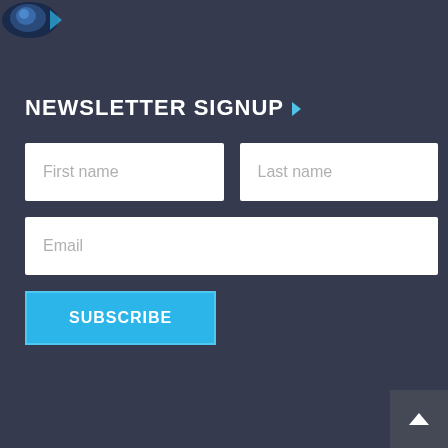[Figure (logo): Partial logo image visible at top-left corner, appears to be a blue/dark circular icon]
NEWSLETTER SIGNUP
[Figure (infographic): Newsletter signup form with First name, Last name, Email input fields and a SUBSCRIBE button]
[Figure (other): Back to top button with upward arrow in bottom-right corner]